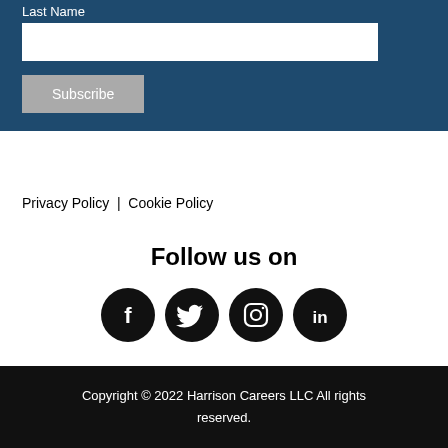Last Name
Subscribe
Privacy Policy | Cookie Policy
Follow us on
[Figure (illustration): Four social media icons in black circles: Facebook, Twitter, Instagram, LinkedIn]
Copyright © 2022 Harrison Careers LLC All rights reserved.